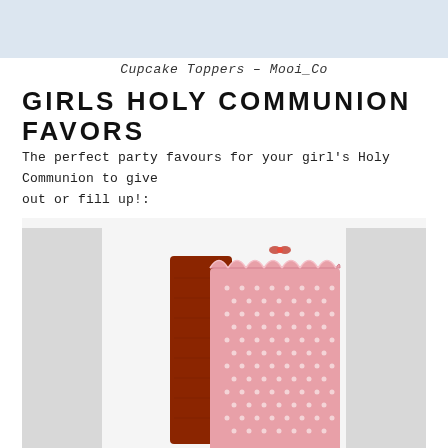Cupcake Toppers - Mooi_Co
GIRLS HOLY COMMUNION FAVORS
The perfect party favours for your girl's Holy Communion to give out or fill up!:
[Figure (photo): Pink polka-dot scallop-edged party favor boxes for girls Holy Communion, with a dark red/brown box behind the pink one, shown against a light grey background.]